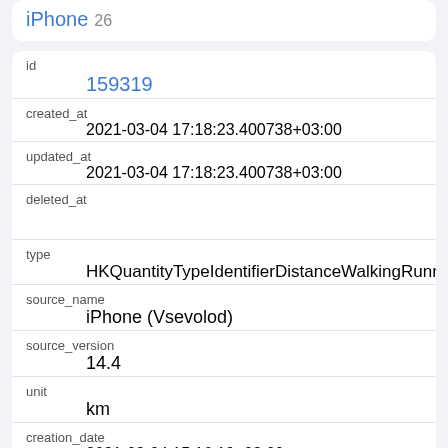iPhone 26
| id | 159319 |
| created_at | 2021-03-04 17:18:23.400738+03:00 |
| updated_at | 2021-03-04 17:18:23.400738+03:00 |
| deleted_at |  |
| type | HKQuantityTypeIdentifierDistanceWalkingRunning |
| source_name | iPhone (Vsevolod) |
| source_version | 14.4 |
| unit | km |
| creation_date | 2021-03-04 15:16:19+03:00 |